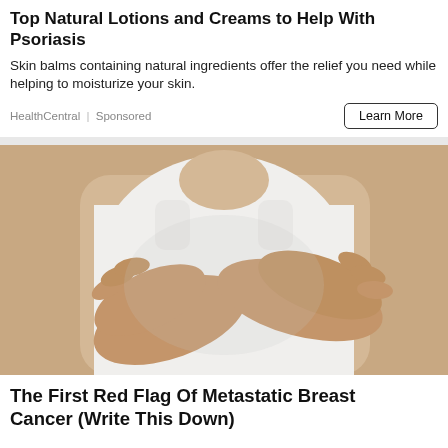Top Natural Lotions and Creams to Help With Psoriasis
Skin balms containing natural ingredients offer the relief you need while helping to moisturize your skin.
HealthCentral | Sponsored
[Figure (photo): A medical/health image showing a person in a white tank top with hands placed on chest area, suggesting a breast cancer awareness or examination context.]
The First Red Flag Of Metastatic Breast Cancer (Write This Down)